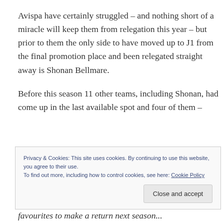Avispa have certainly struggled – and nothing short of a miracle will keep them from relegation this year – but prior to them the only side to have moved up to J1 from the final promotion place and been relegated straight away is Shonan Bellmare.
Before this season 11 other teams, including Shonan, had come up in the last available spot and four of them –
Privacy & Cookies: This site uses cookies. By continuing to use this website, you agree to their use.
To find out more, including how to control cookies, see here: Cookie Policy
Close and accept
favourites to make a return next season...